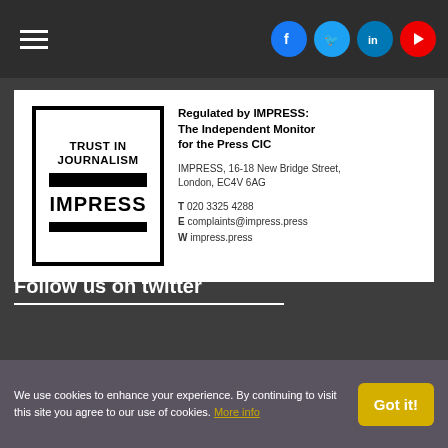Navigation bar with hamburger menu and social media icons (Facebook, Twitter, LinkedIn, YouTube)
[Figure (logo): IMPRESS Trust in Journalism logo — black bordered box with text TRUST IN JOURNALISM and IMPRESS with horizontal bars]
Regulated by IMPRESS: The Independent Monitor for the Press CIC

IMPRESS, 16-18 New Bridge Street, London, EC4V 6AG

T 020 3325 4288
E complaints@impress.press
W impress.press
Follow us on twitter
We use cookies to enhance your experience. By continuing to visit this site you agree to our use of cookies. More info